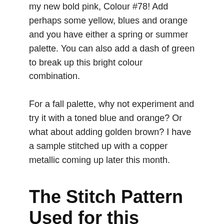my new bold pink, Colour #78! Add perhaps some yellow, blues and orange and you have either a spring or summer palette. You can also add a dash of green to break up this bright colour combination.
For a fall palette, why not experiment and try it with a toned blue and orange? Or what about adding golden brown? I have a sample stitched up with a copper metallic coming up later this month.
The Stitch Pattern Used for this Spring Colour Combinations